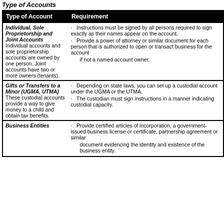Type of Accounts
| Type of Account | Requirement |
| --- | --- |
| Individual, Sole Proprietorship and Joint Accounts Individual accounts and sole proprietorship accounts are owned by one person. Joint accounts have two or more owners (tenants). | · Instructions must be signed by all persons required to sign exactly as their names appear on the account.
· Provide a power of attorney or similar document for each person that is authorized to open or transact business for the account
   if not a named account owner. |
| Gifts or Transfers to a Minor (UGMA, UTMA) These custodial accounts provide a way to give money to a child and obtain tax benefits. | · Depending on state laws, you can set up a custodial account under the UGMA or the UTMA.
· The custodian must sign instructions in a manner indicating custodial capacity. |
| Business Entities | · Provide certified articles of incorporation, a government-issued business license or certificate, partnership agreement or similar
   document evidencing the identity and existence of the business entity. |